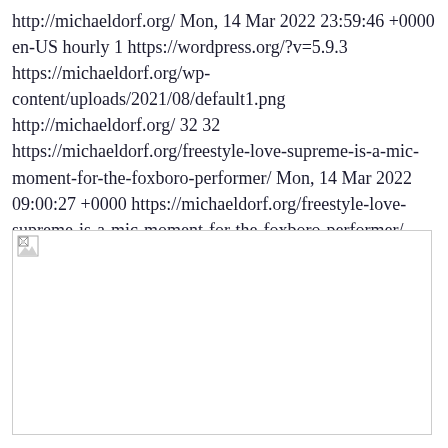http://michaeldorf.org/ Mon, 14 Mar 2022 23:59:46 +0000 en-US hourly 1 https://wordpress.org/?v=5.9.3 https://michaeldorf.org/wp-content/uploads/2021/08/default1.png http://michaeldorf.org/ 32 32 https://michaeldorf.org/freestyle-love-supreme-is-a-mic-moment-for-the-foxboro-performer/ Mon, 14 Mar 2022 09:00:27 +0000 https://michaeldorf.org/freestyle-love-supreme-is-a-mic-moment-for-the-foxboro-performer/
[Figure (photo): Broken image placeholder with a small broken image icon in the top-left corner]